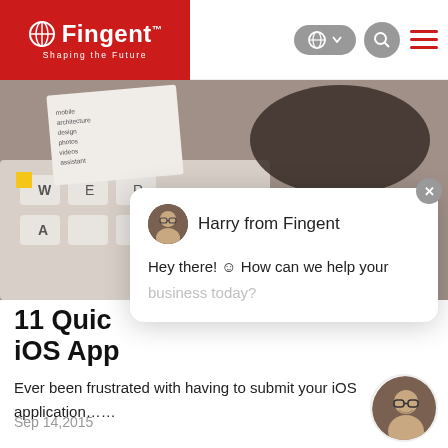[Figure (logo): Fingent logo – white text on red background with globe icon and 'Shaping the Future' tagline]
[Figure (screenshot): Website navigation bar with language selector (globe icon), search button, and hamburger menu in red]
[Figure (photo): Close-up photo of a keyboard and hand touching a tablet screen with app icons text visible]
[Figure (screenshot): Chat popup from Harry from Fingent saying 'Hey there! How can we help your business today?']
11 Quic
iOS App
Ever been frustrated with having to submit your iOS application......
Sep 14,2015